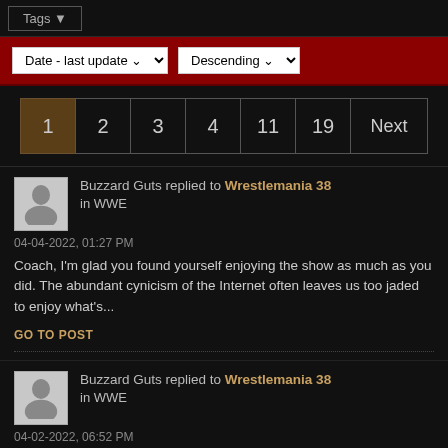Tags ▼
Date - last update ▾   Descending ▾
1  2  3  4  11  19  Next
Buzzard Guts replied to Wrestlemania 38 in WWE
04-04-2022, 01:27 PM
Coach, I'm glad you found yourself enjoying the show as much as you did. The abundant cynicism of the Internet often leaves us too jaded to enjoy what's...
GO TO POST
Buzzard Guts replied to Wrestlemania 38 in WWE
04-02-2022, 06:52 PM
Every year I like to take a moment to wish everyone a happy WrestleMania. May your disappointments be few and your mark out moments be many.